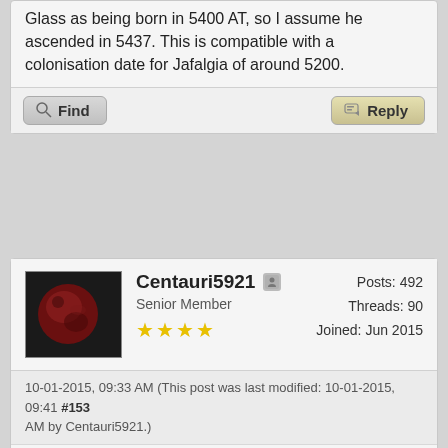Glass as being born in 5400 AT, so I assume he ascended in 5437. This is compatible with a colonisation date for Jafalgia of around 5200.
Find | Reply
Centauri5921 | Senior Member | ★★★★ | Posts: 492 | Threads: 90 | Joined: Jun 2015
10-01-2015, 09:33 AM (This post was last modified: 10-01-2015, 09:41 AM by Centauri5921.) #153
Check out the EG page on "Gaian Type" worlds. May wanna fix the text around the image. ;p

(Also, humanity appears to be capitalized. Think this is an error).

On the Lacustric Subtype page, there should be a link to Trees at the bottom, methinks.

On the Hov's'sa article, I'm not sure, but should it not be